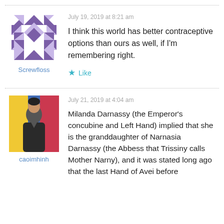[Figure (illustration): Purple geometric quilt-pattern avatar for user Screwfloss]
Screwfloss
July 19, 2019 at 8:21 am
I think this world has better contraceptive options than ours as well, if I'm remembering right.
Like
[Figure (photo): Photo of a person wearing a dark jacket with a colorful flag (yellow, blue, red) in the background - avatar for caoimhinh]
caoimhinh
July 21, 2019 at 4:04 am
Milanda Darnassy (the Emperor's concubine and Left Hand) implied that she is the granddaughter of Narnasia Darnassy (the Abbess that Trissiny calls Mother Narny), and it was stated long ago that the last Hand of Avei before